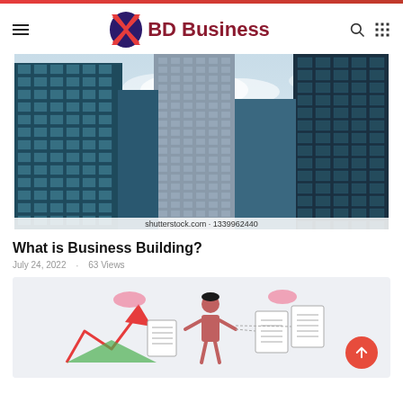BD Business
[Figure (photo): Looking up at tall glass skyscrapers from ground level, with a cloudy sky visible between the buildings. Watermark text: shutterstock.com · 1339962440]
What is Business Building?
July 24, 2022  ·  63 Views
[Figure (illustration): Business growth infographic showing a person with upward arrows and charts, with red and green elements on a light gray background]